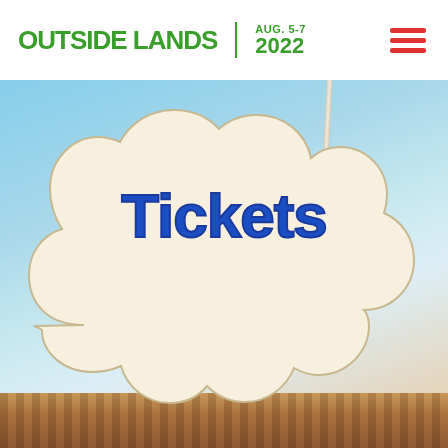[Figure (logo): Outside Lands festival logo with green text and date AUG. 5-7 2022]
[Figure (photo): Festival scene with blue sky, white tent/stage structure, and crowd at bottom]
Tickets